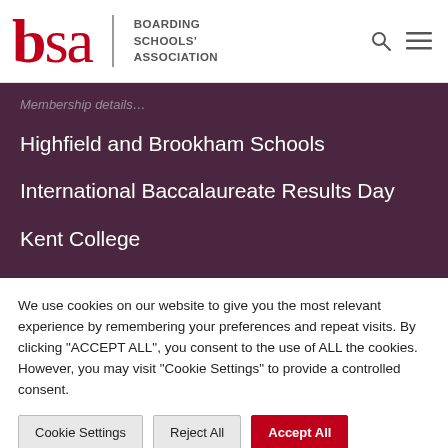[Figure (logo): BSA Boarding Schools' Association logo with red serif 'bsa' text and divider followed by organization name]
Highfield and Brookham Schools
International Baccalaureate Results Day
Kent College
We use cookies on our website to give you the most relevant experience by remembering your preferences and repeat visits. By clicking "ACCEPT ALL", you consent to the use of ALL the cookies. However, you may visit "Cookie Settings" to provide a controlled consent.
Cookie Settings | Reject All | Accept All